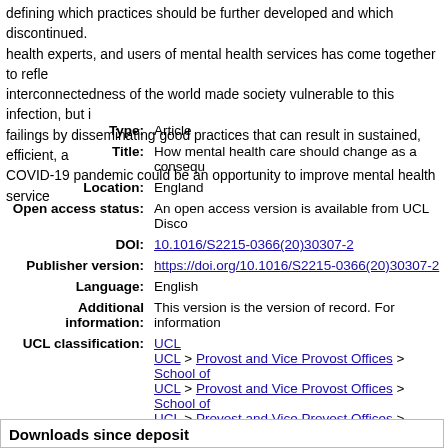defining which practices should be further developed and which discontinued. health experts, and users of mental health services has come together to reflect interconnectedness of the world made society vulnerable to this infection, but i failings by disseminating good practices that can result in sustained, efficient, a COVID-19 pandemic could be an opportunity to improve mental health service
| Type: | Article |
| Title: | How mental health care should change as a consequ |
| Location: | England |
| Open access status: | An open access version is available from UCL Disco |
| DOI: | 10.1016/S2215-0366(20)30307-2 |
| Publisher version: | https://doi.org/10.1016/S2215-0366(20)30307-2 |
| Language: | English |
| Additional information: | This version is the version of record. For information |
| UCL classification: | UCL
UCL > Provost and Vice Provost Offices > School of
UCL > Provost and Vice Provost Offices > School of
UCL > Provost and Vice Provost Offices > School of of Psychiatry |
| URI: | https://discovery.ucl.ac.uk/id/eprint/10108230 |
Downloads since deposit